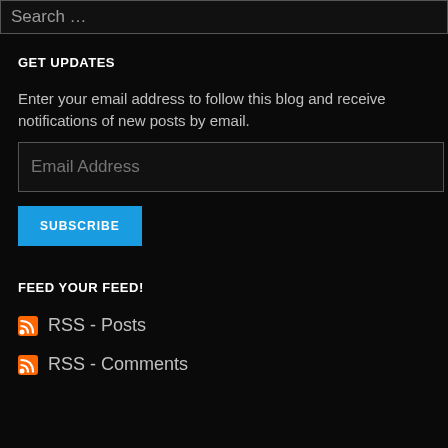Search …
GET UPDATES
Enter your email address to follow this blog and receive notifications of new posts by email.
Email Address
SUBSCRIBE
FEED YOUR FEED!
RSS - Posts
RSS - Comments